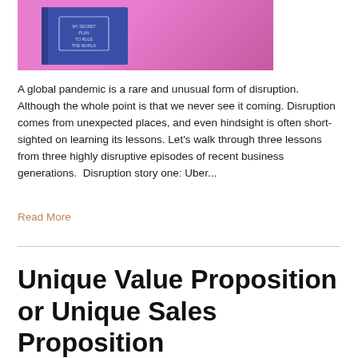[Figure (photo): A blue notebook/journal with text 'MY SECRET PLAN TO RULE THE WORLD' on the cover, placed on a pink background.]
A global pandemic is a rare and unusual form of disruption. Although the whole point is that we never see it coming. Disruption comes from unexpected places, and even hindsight is often short-sighted on learning its lessons. Let’s walk through three lessons from three highly disruptive episodes of recent business generations.  Disruption story one: Uber...
Read More
Unique Value Proposition or Unique Sales Proposition